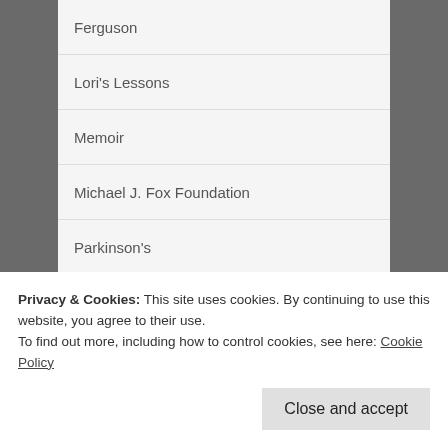Ferguson
Lori's Lessons
Memoir
Michael J. Fox Foundation
Parkinson's
Parkinson's research
race
Privacy & Cookies: This site uses cookies. By continuing to use this website, you agree to their use.
To find out more, including how to control cookies, see here: Cookie Policy